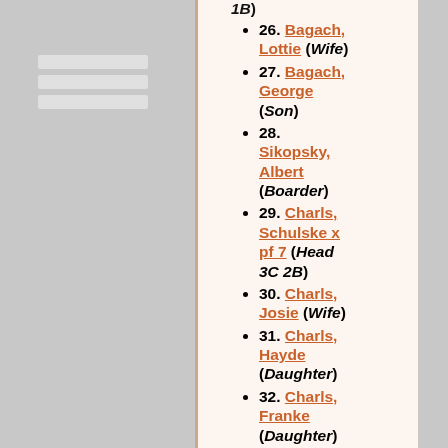1B) (partial, top of page)
26. Bagach, Lottie (Wife)
27. Bagach, George (Son)
28. Sikopsky, Albert (Boarder)
29. Charls, Schulske x pf 7 (Head 3C 2B)
30. Charls, Josie (Wife)
31. Charls, Hayde (Daughter)
32. Charls, Franke (Daughter)
33. Charls, Nelg (Daughter)